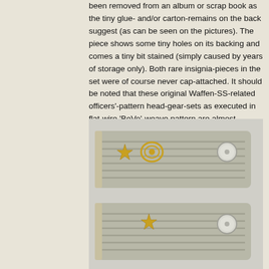been removed from an album or scrap book as the tiny glue- and/or carton-remains on the back suggest (as can be seen on the pictures). The piece shows some tiny holes on its backing and comes a tiny bit stained (simply caused by years of storage only). Both rare insignia-pieces in the set were of course never cap-attached. It should be noted that these original Waffen-SS-related officers'-pattern head-gear-sets as executed in flat-wire 'BeVo'-weave pattern are almost impossible to find and can nowadays easily be graded 'very rare'. I have seen these sets sell for much more than my asking-price!
[Figure (photo): Photograph of military shoulder boards/epaulettes with gold insignia stars and silver buttons on a gray fabric background.]